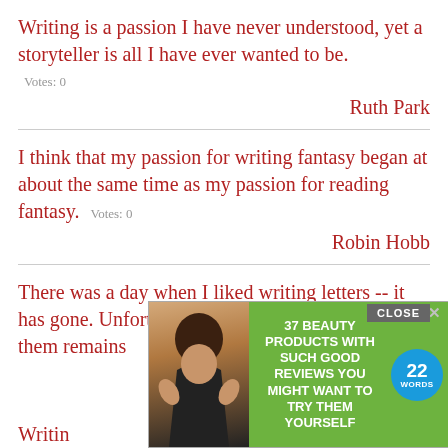Writing is a passion I have never understood, yet a storyteller is all I have ever wanted to be.
Votes: 0
Ruth Park
I think that my passion for writing fantasy began at about the same time as my passion for reading fantasy.  Votes: 0
Robin Hobb
There was a day when I liked writing letters -- it has gone. Unfortunately the passion for getting them remains
Woolf
Writin
[Figure (screenshot): Advertisement overlay: green background ad for '37 Beauty Products With Such Good Reviews You Might Want To Try Them Yourself' with a photo of a smiling woman and a blue '22 Words' badge. Has a CLOSE button and X button.]